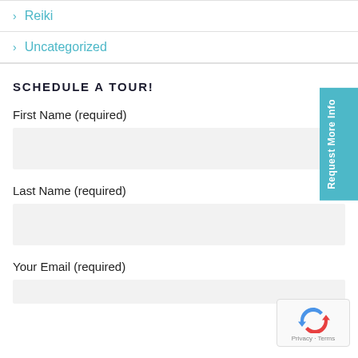> Reiki
> Uncategorized
SCHEDULE A TOUR!
First Name (required)
Last Name (required)
Your Email (required)